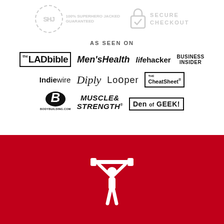[Figure (logo): SHJ 100% Superhero Jacked Guaranteed badge and Secure Checkout lock badge in light gray]
AS SEEN ON
[Figure (logo): Media logos row 1: The LADbible, Men's Health, Lifehacker, Business Insider]
[Figure (logo): Media logos row 2: Indiewire, Diply, Looper, CheatSheet]
[Figure (logo): Media logos row 3: Bodybuilding.com, Muscle & Strength, Den of Geek]
[Figure (illustration): White weightlifter icon on red background]